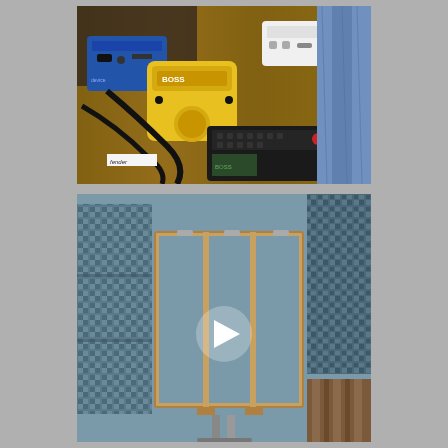[Figure (photo): Top photo showing a wooden table surface with guitar effects pedals and audio equipment: a yellow Boss pedal in center, a blue pedal/device on the left, a black multi-effects unit in the foreground, a white device in the upper right, and cables scattered around. A person in jeans is partially visible on the right side.]
[Figure (photo): Bottom photo/video thumbnail showing a recording studio room with blue-grey walls. A large three-panel wooden-framed canvas or board is mounted on a stand in the center. Acoustic foam panels with a geometric pattern are visible on the left wall and right side. A white triangular play button icon is overlaid in the center of the image, indicating this is a video thumbnail.]